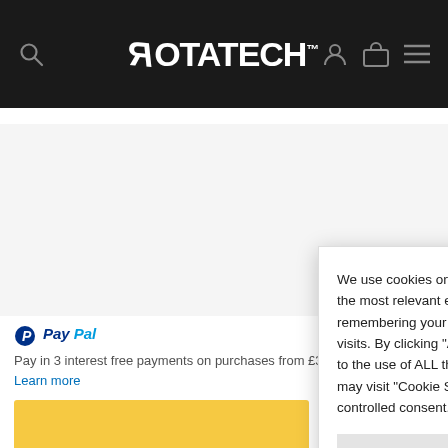ROTATECH
Pay in 3 interest free payments on purchases from £30-£2,000
Learn more
SKU: POH20-58WH
Categories: Chainsaws, Chainsaws, Chainsaws
Tag: Bars
[Figure (screenshot): Cookie consent dialog overlay with text: We use cookies on our website to give you the most relevant experience by remembering your preferences and repeat visits. By clicking Accept All, you consent to the use of ALL the cookies. However, you may visit Cookie Settings to provide a controlled consent. Two buttons: Cookie Settings and Accept All.]